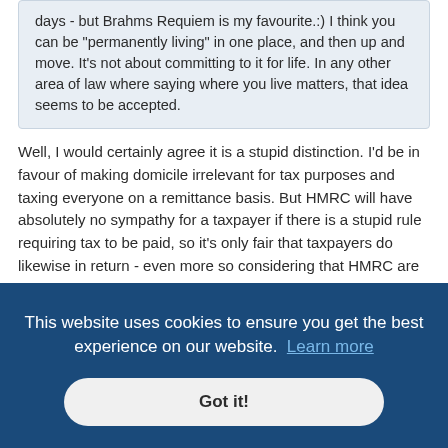days - but Brahms Requiem is my favourite.:) I think you can be "permanently living" in one place, and then up and move. It's not about committing to it for life. In any other area of law where saying where you live matters, that idea seems to be accepted.
Well, I would certainly agree it is a stupid distinction. I'd be in favour of making domicile irrelevant for tax purposes and taxing everyone on a remittance basis. But HMRC will have absolutely no sympathy for a taxpayer if there is a stupid rule requiring tax to be paid, so it's only fair that taxpayers do likewise in return - even more so considering that HMRC are on the side of the party that makes the rules.
I'm pretty sure Mrs Sunak must have "permanent residence" here. If she didn't, she wouldn't be allowed in. They are seriously hot on refusing admission to overseas spouses if they haven't already [obtained leave to remain / permanent residence. ...a tourist ...all the ...e must ...ndom ...way with]
...ces, but every time I learn something new about immigration policy it turns out to
This website uses cookies to ensure you get the best experience on our website. Learn more
Got it!